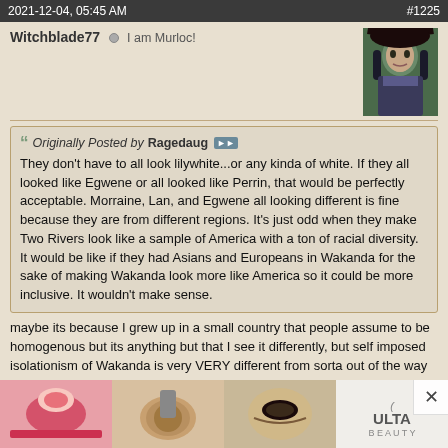2021-12-04, 05:45 AM  #1225
Witchblade77 ○ I am Murloc!
[Figure (illustration): Avatar image of a dark-haired female character, fantasy art style, green tones]
Originally Posted by Ragedaug
They don't have to all look lilywhite...or any kinda of white. If they all looked like Egwene or all looked like Perrin, that would be perfectly acceptable. Morraine, Lan, and Egwene all looking different is fine because they are from different regions. It's just odd when they make Two Rivers look like a sample of America with a ton of racial diversity. It would be like if they had Asians and Europeans in Wakanda for the sake of making Wakanda look more like America so it could be more inclusive. It wouldn't make sense.
maybe its because I grew up in a small country that people assume to be homogenous but its anything but that I see it differently, but self imposed isolationism of Wakanda is very VERY different from sorta out of the way but not exactly lost or forgotten Two Rivers. even in Jordan's descriptions two rivers people don't look homogenous in terms of their physical appearance. they are recognizable by their customs and their clothes mostly.
also, poster I was replying to seems to expect characters to look like they did in a graphic novel, which itself was interpretation and not some "this is w... apparent... descript...
[Figure (advertisement): ULTA beauty advertisement showing makeup product images and SHOP NOW button]